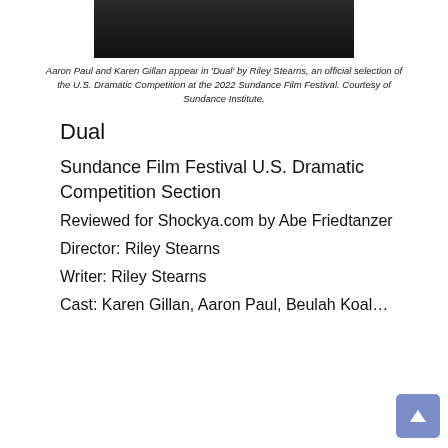[Figure (photo): Dark photo showing Aaron Paul and Karen Gillan from the film 'Dual', partially cropped at top.]
Aaron Paul and Karen Gillan appear in 'Dual' by Riley Stearns, an official selection of the U.S. Dramatic Competition at the 2022 Sundance Film Festival. Courtesy of Sundance Institute.
Dual
Sundance Film Festival U.S. Dramatic Competition Section
Reviewed for Shockya.com by Abe Friedtanzer
Director: Riley Stearns
Writer: Riley Stearns
Cast: Karen Gillan, Aaron Paul, Beulah Koale…